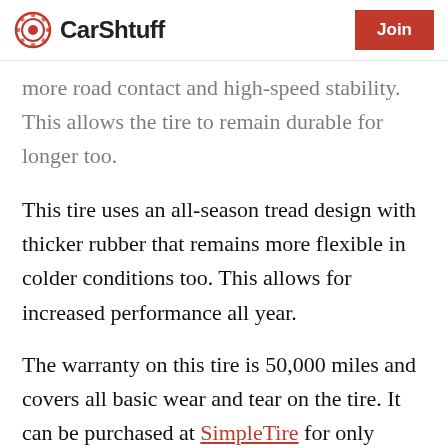CarShtuff | Join
…more road contact and high-speed stability. This allows the tire to remain durable for longer too.
This tire uses an all-season tread design with thicker rubber that remains more flexible in colder conditions too. This allows for increased performance all year.
The warranty on this tire is 50,000 miles and covers all basic wear and tear on the tire. It can be purchased at SimpleTire for only $48.98 per tire.
4. Accelera Eco Plush
The Accelera Eco Plush is described as a…